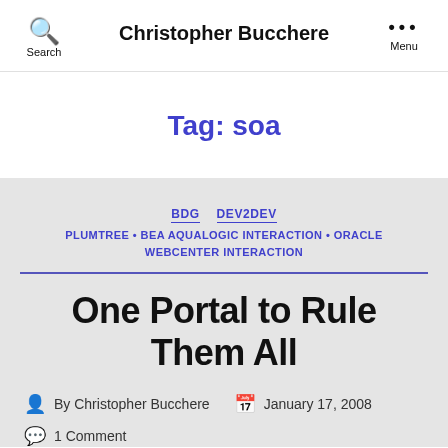Search  Christopher Bucchere  Menu
Tag: soa
BDG  DEV2DEV
PLUMTREE • BEA AQUALOGIC INTERACTION • ORACLE WEBCENTER INTERACTION
One Portal to Rule Them All
By Christopher Bucchere  January 17, 2008  1 Comment